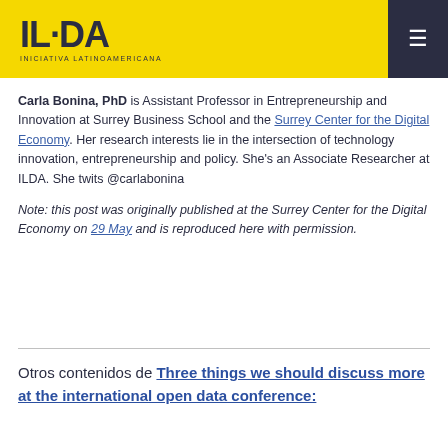ILDA
Carla Bonina, PhD is Assistant Professor in Entrepreneurship and Innovation at Surrey Business School and the Surrey Center for the Digital Economy. Her research interests lie in the intersection of technology innovation, entrepreneurship and policy. She's an Associate Researcher at ILDA. She twits @carlabonina
Note: this post was originally published at the Surrey Center for the Digital Economy on 29 May and is reproduced here with permission.
Otros contenidos de Three things we should discuss more at the international open data conference: